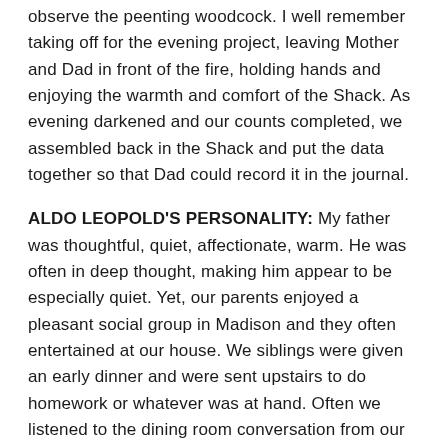observe the peenting woodcock. I well remember taking off for the evening project, leaving Mother and Dad in front of the fire, holding hands and enjoying the warmth and comfort of the Shack. As evening darkened and our counts completed, we assembled back in the Shack and put the data together so that Dad could record it in the journal.
ALDO LEOPOLD'S PERSONALITY: My father was thoughtful, quiet, affectionate, warm. He was often in deep thought, making him appear to be especially quiet. Yet, our parents enjoyed a pleasant social group in Madison and they often entertained at our house. We siblings were given an early dinner and were sent upstairs to do homework or whatever was at hand. Often we listened to the dining room conversation from our upstairs perch. There were times of hilarious laughter and then of quiet conversation. One of the friends had a particularly loud laugh, and as we listened, we, too, would explode into quiet laughter.
Walking with Dad was often a quiet affair as it was evident that